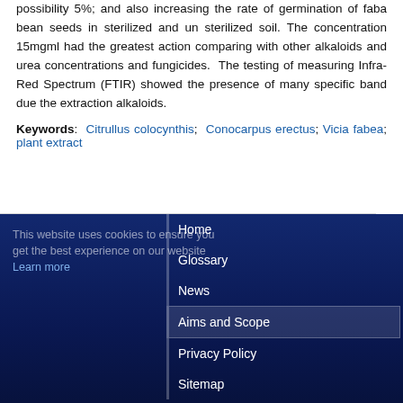possibility 5%; and also increasing the rate of germination of faba bean seeds in sterilized and un sterilized soil. The concentration 15mgml had the greatest action comparing with other alkaloids and urea concentrations and fungicides. The testing of measuring Infra-Red Spectrum (FTIR) showed the presence of many specific band due the extraction alkaloids.
Keywords: Citrullus colocynthis; Conocarpus erectus; Vicia fabea; plant extract
This website uses cookies to ensure you get the best experience on our website Learn more
Home
Glossary
News
Aims and Scope
Privacy Policy
Sitemap